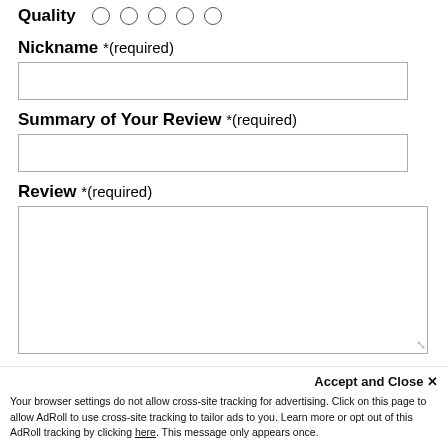Quality ○ ○ ○ ○ ○
Nickname *(required)
[Figure (other): Empty text input field for Nickname]
Summary of Your Review *(required)
[Figure (other): Empty text input field for Summary of Your Review]
Review *(required)
[Figure (other): Large empty textarea for Review with resize handle]
Accept and Close ✕
Your browser settings do not allow cross-site tracking for advertising. Click on this page to allow AdRoll to use cross-site tracking to tailor ads to you. Learn more or opt out of this AdRoll tracking by clicking here. This message only appears once.